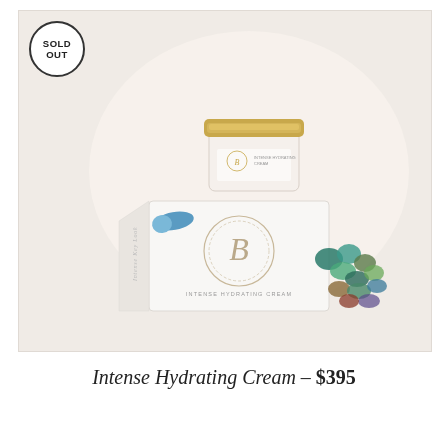[Figure (photo): Product photo of Intense Hydrating Cream: a cream jar with gold lid and a white branded box with decorative 'B' monogram logo, surrounded by colorful glass pebbles and a blue capsule, on a warm beige/cream background. A 'SOLD OUT' circular badge overlays the top-left corner.]
Intense Hydrating Cream — $395